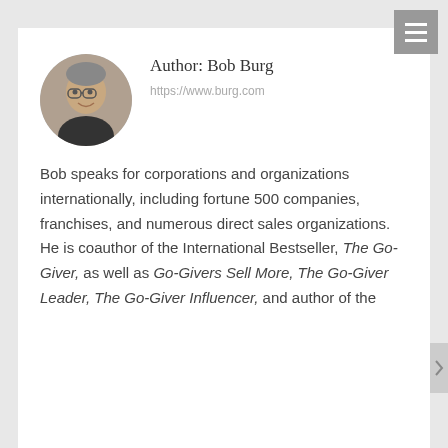[Figure (photo): Circular profile photo of Bob Burg, a middle-aged man with gray hair and glasses, smiling, in front of a bookshelf]
Author: Bob Burg
https://www.burg.com
Bob speaks for corporations and organizations internationally, including fortune 500 companies, franchises, and numerous direct sales organizations. He is coauthor of the International Bestseller, The Go-Giver, as well as Go-Givers Sell More, The Go-Giver Leader, The Go-Giver Influencer, and author of the